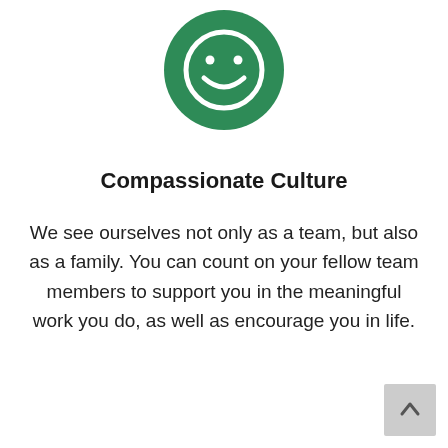[Figure (illustration): Green circle icon with a white smiley face in the center]
Compassionate Culture
We see ourselves not only as a team, but also as a family. You can count on your fellow team members to support you in the meaningful work you do, as well as encourage you in life.